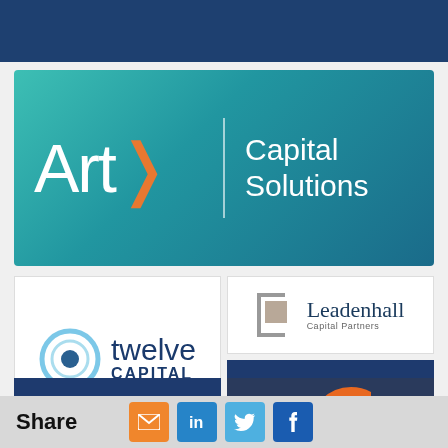[Figure (logo): Dark blue banner at top (partially visible)]
[Figure (logo): Artex Capital Solutions logo — teal gradient background with white 'Artex' text (stylized orange arrow in X), vertical divider, and 'Capital Solutions' in white]
[Figure (logo): Leadenhall Capital Partners logo — white background with grey/tan bracket icon and serif text]
[Figure (logo): Twelve Capital logo — white background with blue concentric circle icon and dark blue 'twelve CAPITAL' text]
[Figure (logo): Aeolus logo — dark navy background with stylized cursive 'ae' and bold 'AEOLUS' text in white]
[Figure (logo): ALPHACAT logo — dark navy background with bold 'ALPHACAT' in white and small AC subtext]
[Figure (logo): Partial logo bottom right — dark navy/blue background with orange circular graphic, partially cut off]
Share